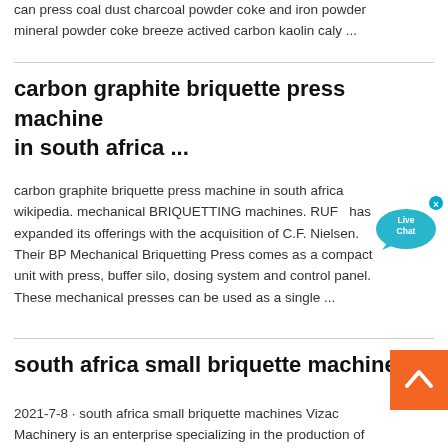can press coal dust charcoal powder coke and iron powder mineral powder coke breeze actived carbon kaolin caly ...
carbon graphite briquette press machine in south africa ...
carbon graphite briquette press machine in south africa wikipedia. mechanical BRIQUETTING machines. RUF expanded its offerings with the acquisition of C.F. Nielsen. Their BP Mechanical Briquetting Press comes as a compact unit with press, buffer silo, dosing system and control panel. These mechanical presses can be used as a single ...
south africa small briquette machine
2021-7-8 · south africa small briquette machines Vizac Machinery is an enterprise specializing in the production of